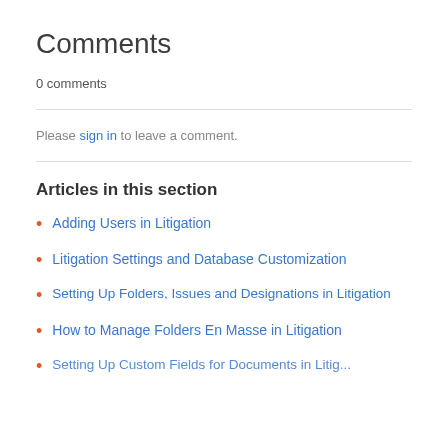Comments
0 comments
Please sign in to leave a comment.
Articles in this section
Adding Users in Litigation
Litigation Settings and Database Customization
Setting Up Folders, Issues and Designations in Litigation
How to Manage Folders En Masse in Litigation
Setting Up Custom Fields for Documents in Litig...